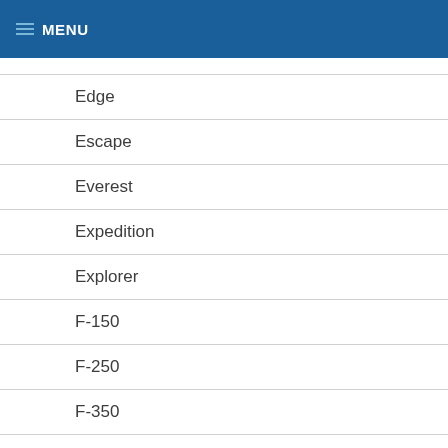MENU
Edge
Escape
Everest
Expedition
Explorer
F-150
F-250
F-350
F-450
Fiesta
Flex